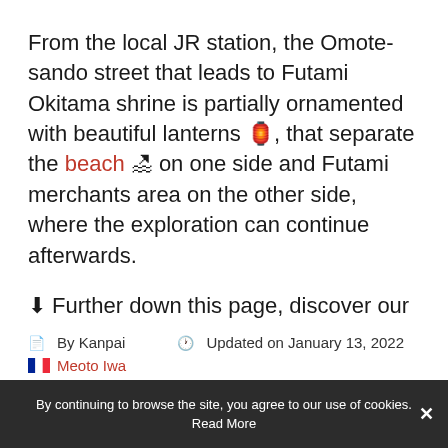From the local JR station, the Omote-sando street that leads to Futami Okitama shrine is partially ornamented with beautiful lanterns 🏮, that separate the beach 🏖 on one side and Futami merchants area on the other side, where the exploration can continue afterwards.
⬇ Further down this page, discover our visit guide in Meoto Iwa and around.
📄 By Kanpai    🕐 Updated on January 13, 2022
🇫🇷 Meoto Iwa
By continuing to browse the site, you agree to our use of cookies. Read More